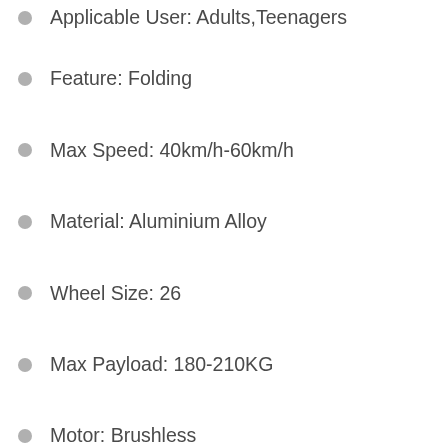Applicable User: Adults,Teenagers
Feature: Folding
Max Speed: 40km/h-60km/h
Material: Aluminium Alloy
Wheel Size: 26
Max Payload: 180-210KG
Motor: Brushless